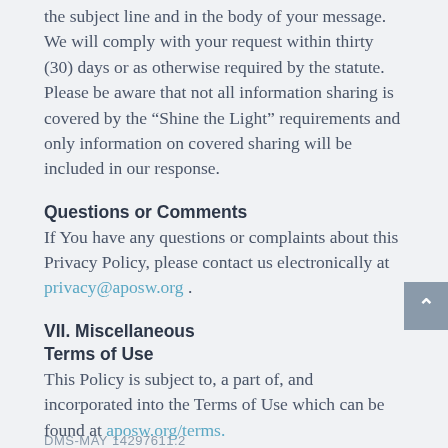the subject line and in the body of your message. We will comply with your request within thirty (30) days or as otherwise required by the statute. Please be aware that not all information sharing is covered by the “Shine the Light” requirements and only information on covered sharing will be included in our response.
Questions or Comments
If You have any questions or complaints about this Privacy Policy, please contact us electronically at privacy@aposw.org .
VII. Miscellaneous
Terms of Use
This Policy is subject to, a part of, and incorporated into the Terms of Use which can be found at aposw.org/terms.
DMS-MAY 14297611:2